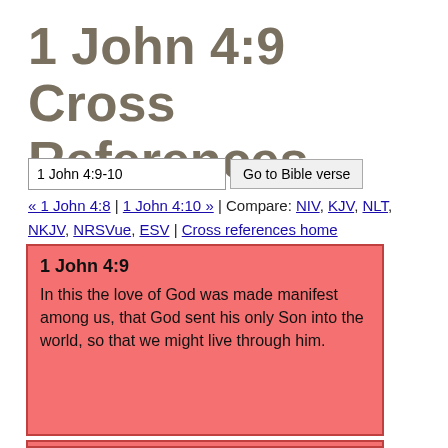1 John 4:9 Cross References
1 John 4:9-10 [input field] Go to Bible verse
« 1 John 4:8 | 1 John 4:10 » | Compare: NIV, KJV, NLT, NKJV, NRSVue, ESV | Cross references home
1 John 4:9
In this the love of God was made manifest among us, that God sent his only Son into the world, so that we might live through him.